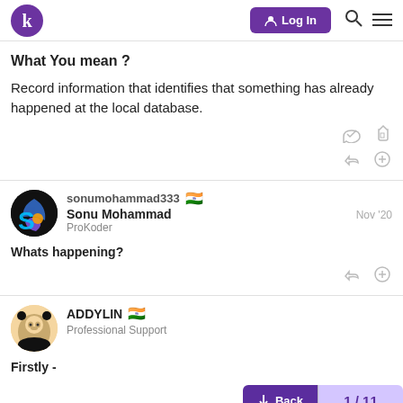k  Log In
What You mean ?

Record information that identifies that something has already happened at the local database.
sonumohammad333 🇮🇳
Sonu Mohammad
ProKoder
Nov '20
Whats happening?
ADDYLIN 🇮🇳
Professional Support
Firstly -